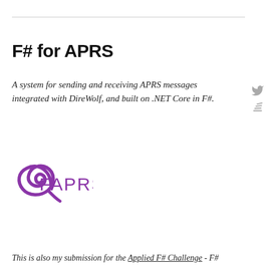F# for APRS
A system for sending and receiving APRS messages integrated with DireWolf, and built on .NET Core in F#.
[Figure (logo): FAPRS logo: a purple stylized radio wave icon on the left, and the text 'FAPRS' in purple on the right]
This is also my submission for the Applied F# Challenge - F#